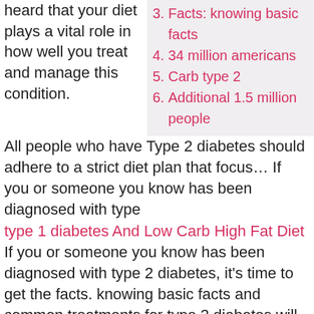heard that your diet plays a vital role in how well you treat and manage this condition.
3. Facts: knowing basic facts
4. 34 million americans
5. Carb type 2
6. Additional 1.5 million people
All people who have Type 2 diabetes should adhere to a strict diet plan that focus… If you or someone you know has been diagnosed with type
type 1 diabetes And Low Carb High Fat Diet If you or someone you know has been diagnosed with type 2 diabetes, it's time to get the facts. knowing basic facts and common treatments for type 2 diabetes will empower you to take control of your health and make smarter decisions. If you've recently been diagnosed with Type 2 diabetes, you might've heard that
Best Diet Good For Type 2 Diabetes Diabetes impacts the lives of more than 34 million americans, which adds up to more than 10% of the population. When you consider the magnitude of that number, it's easy to understand why